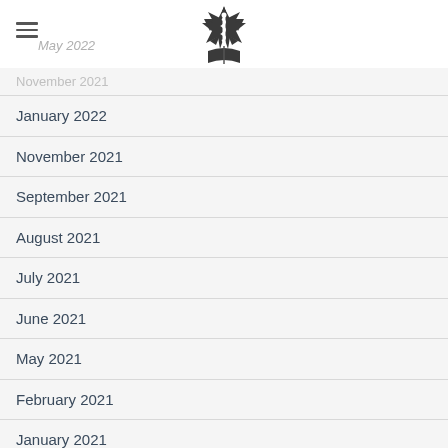May 2022
January 2022
November 2021
September 2021
August 2021
July 2021
June 2021
May 2021
February 2021
January 2021
December 2020